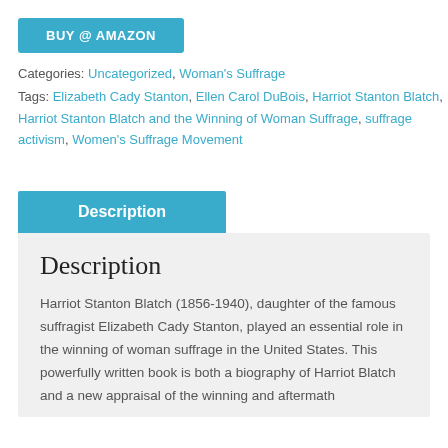BUY @ AMAZON
Categories: Uncategorized, Woman's Suffrage
Tags: Elizabeth Cady Stanton, Ellen Carol DuBois, Harriot Stanton Blatch, Harriot Stanton Blatch and the Winning of Woman Suffrage, suffrage activism, Women's Suffrage Movement
Description
Description
Harriot Stanton Blatch (1856-1940), daughter of the famous suffragist Elizabeth Cady Stanton, played an essential role in the winning of woman suffrage in the United States. This powerfully written book is both a biography of Harriot Blatch and a new appraisal of the winning and aftermath